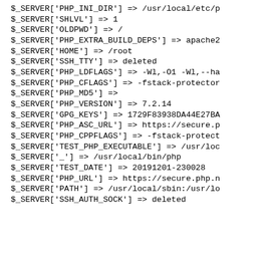$_SERVER['PHP_INI_DIR'] => /usr/local/etc/p
$_SERVER['SHLVL'] => 1
$_SERVER['OLDPWD'] => /
$_SERVER['PHP_EXTRA_BUILD_DEPS'] => apache2
$_SERVER['HOME'] => /root
$_SERVER['SSH_TTY'] => deleted
$_SERVER['PHP_LDFLAGS'] => -Wl,-O1 -Wl,--ha
$_SERVER['PHP_CFLAGS'] => -fstack-protector
$_SERVER['PHP_MD5'] =>
$_SERVER['PHP_VERSION'] => 7.2.14
$_SERVER['GPG_KEYS'] => 1729F83938DA44E27BA
$_SERVER['PHP_ASC_URL'] => https://secure.p
$_SERVER['PHP_CPPFLAGS'] => -fstack-protect
$_SERVER['TEST_PHP_EXECUTABLE'] => /usr/loc
$_SERVER['_'] => /usr/local/bin/php
$_SERVER['TEST_DATE'] => 20191201-230028
$_SERVER['PHP_URL'] => https://secure.php.n
$_SERVER['PATH'] => /usr/local/sbin:/usr/lo
$_SERVER['SSH_AUTH_SOCK'] => deleted